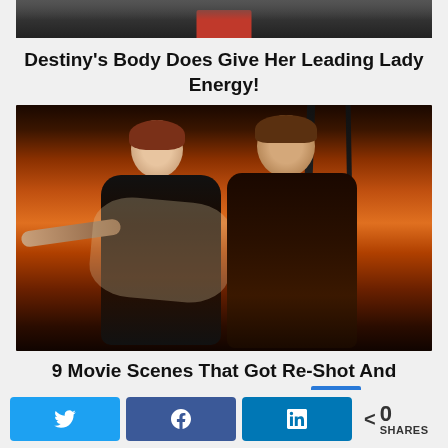[Figure (photo): Partial top image showing dark background with red element at bottom center]
Destiny's Body Does Give Her Leading Lady Energy!
[Figure (photo): Famous Titanic movie scene with couple in arms-outstretched pose on ship bow against sunset backdrop]
9 Movie Scenes That Got Re-Shot And Saved The Whole Movie
[Figure (infographic): Social share bar with Twitter, Facebook, LinkedIn buttons and share count showing 0 SHARES]